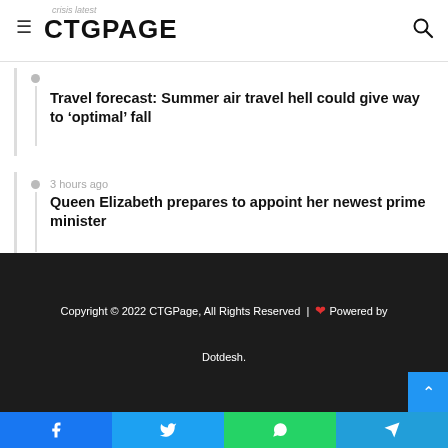crisis latest CTGPAGE
Travel forecast: Summer air travel hell could give way to 'optimal' fall
3 hours ago — Queen Elizabeth prepares to appoint her newest prime minister
5 hours ago — US Open: Andy Murray loses to Matteo Berrettini in New York
Copyright © 2022 CTGPage, All Rights Reserved | ❤ Powered by Dotdesh.